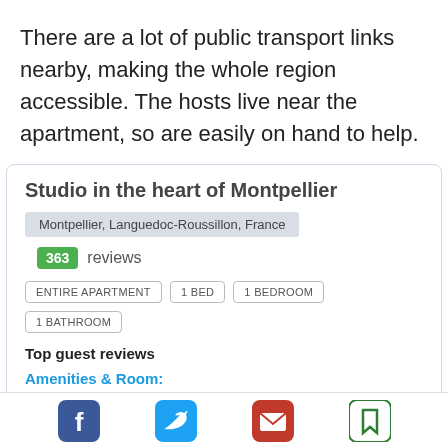There are a lot of public transport links nearby, making the whole region accessible. The hosts live near the apartment, so are easily on hand to help.
Studio in the heart of Montpellier
Montpellier, Languedoc-Roussillon, France
363 reviews
ENTIRE APARTMENT   1 BED   1 BEDROOM   1 BATHROOM
Top guest reviews
Amenities & Room:
everything we needed was there including a fan for the hot nights
Read More >>
[Figure (infographic): Social sharing icons: Facebook, Twitter, Email, Bookmark]